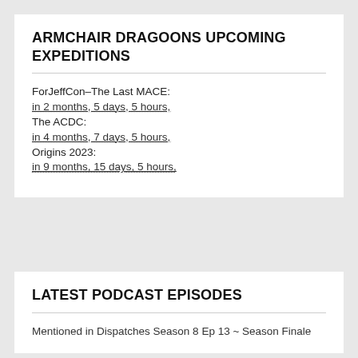ARMCHAIR DRAGOONS UPCOMING EXPEDITIONS
ForJeffCon–The Last MACE:
in 2 months, 5 days, 5 hours,
The ACDC:
in 4 months, 7 days, 5 hours,
Origins 2023:
in 9 months, 15 days, 5 hours,
LATEST PODCAST EPISODES
Mentioned in Dispatches Season 8 Ep 13 ~ Season Finale